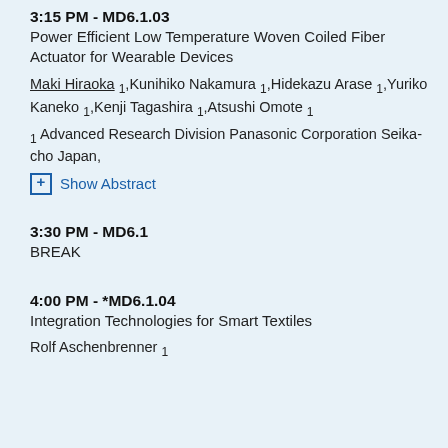3:15 PM - MD6.1.03
Power Efficient Low Temperature Woven Coiled Fiber Actuator for Wearable Devices
Maki Hiraoka 1,Kunihiko Nakamura 1,Hidekazu Arase 1,Yuriko Kaneko 1,Kenji Tagashira 1,Atsushi Omote 1
1 Advanced Research Division Panasonic Corporation Seika-cho Japan,
+ Show Abstract
3:30 PM - MD6.1
BREAK
4:00 PM - *MD6.1.04
Integration Technologies for Smart Textiles
Rolf Aschenbrenner 1